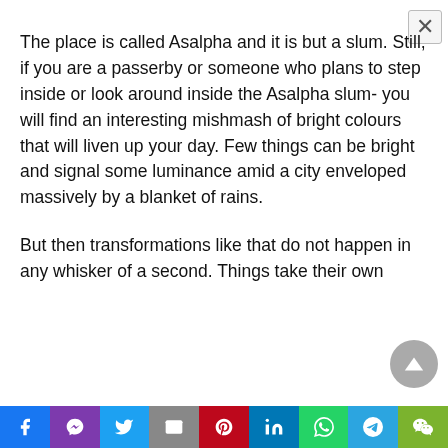The place is called Asalpha and it is but a slum. Still, if you are a passerby or someone who plans to step inside or look around inside the Asalpha slum- you will find an interesting mishmash of bright colours that will liven up your day. Few things can be bright and signal some luminance amid a city enveloped massively by a blanket of rains.
But then transformations like that do not happen in any whisker of a second. Things take their own